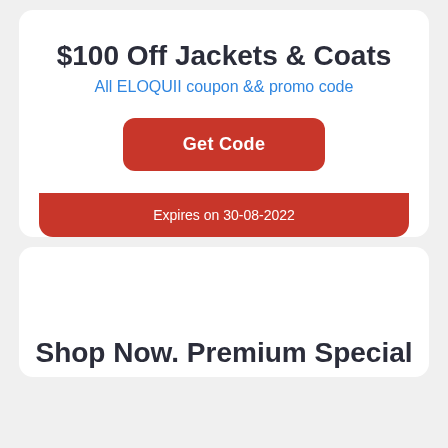$100 Off Jackets & Coats
All ELOQUII coupon && promo code
Get Code
Expires on 30-08-2022
Shop Now. Premium Special